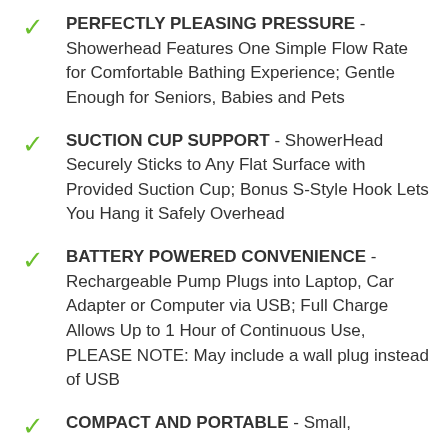PERFECTLY PLEASING PRESSURE - Showerhead Features One Simple Flow Rate for Comfortable Bathing Experience; Gentle Enough for Seniors, Babies and Pets
SUCTION CUP SUPPORT - ShowerHead Securely Sticks to Any Flat Surface with Provided Suction Cup; Bonus S-Style Hook Lets You Hang it Safely Overhead
BATTERY POWERED CONVENIENCE - Rechargeable Pump Plugs into Laptop, Car Adapter or Computer via USB; Full Charge Allows Up to 1 Hour of Continuous Use, PLEASE NOTE: May include a wall plug instead of USB
COMPACT AND PORTABLE - Small,